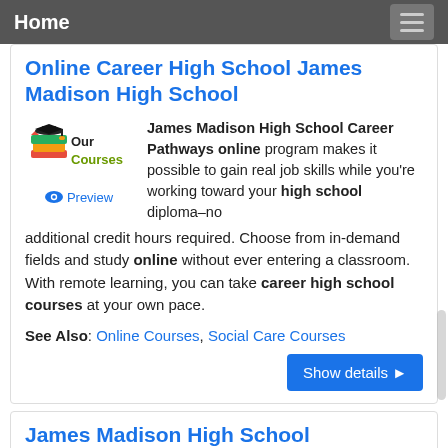Home
Online Career High School James Madison High School
[Figure (logo): Graduation cap and books logo with text 'Our Courses']
Preview
James Madison High School Career Pathways online program makes it possible to gain real job skills while you're working toward your high school diploma–no additional credit hours required. Choose from in-demand fields and study online without ever entering a classroom. With remote learning, you can take career high school courses at your own pace.
See Also: Online Courses, Social Care Courses
Show details ▶
James Madison High School